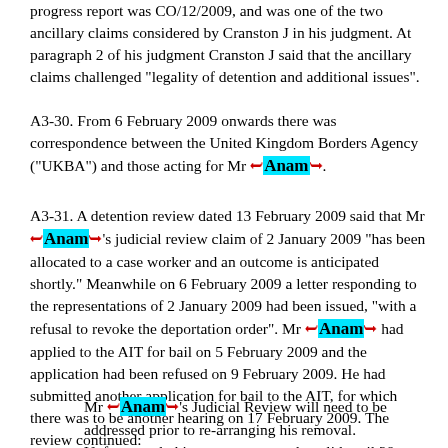progress report was CO/12/2009, and was one of the two ancillary claims considered by Cranston J in his judgment. At paragraph 2 of his judgment Cranston J said that the ancillary claims challenged "legality of detention and additional issues".
A3-30. From 6 February 2009 onwards there was correspondence between the United Kingdom Borders Agency ("UKBA") and those acting for Mr Anam.
A3-31. A detention review dated 13 February 2009 said that Mr Anam's judicial review claim of 2 January 2009 "has been allocated to a case worker and an outcome is anticipated shortly." Meanwhile on 6 February 2009 a letter responding to the representations of 2 January 2009 had been issued, "with a refusal to revoke the deportation order". Mr Anam had applied to the AIT for bail on 5 February 2009 and the application had been refused on 9 February 2009. He had submitted another application for bail to the AIT, for which there was to be another hearing on 17 February 2009. The review continued:
Mr Anam's Judicial Review will need to be addressed prior to re-arranging his removal. Unfortunately his passport was only valid until 28 January 2009 so, due to the JR claim, expired